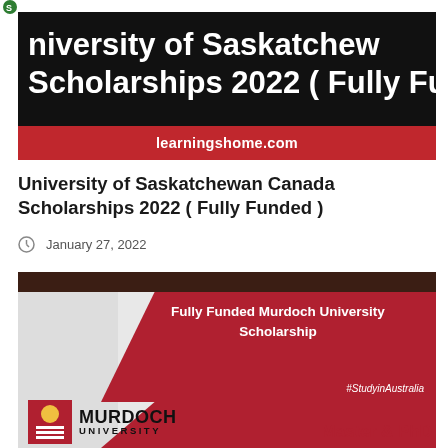[Figure (illustration): Banner image with black background showing text 'University of Saskatchewan Canada Scholarships 2022 (Fully Funded)' in bold white, with a red strip at the bottom showing 'learningshome.com']
University of Saskatchewan Canada Scholarships 2022 ( Fully Funded )
January 27, 2022
[Figure (illustration): Banner for Fully Funded Murdoch University Scholarship showing red and white design with Murdoch University logo, hashtag #StudyInAustralia, and text 'Master & PhD']